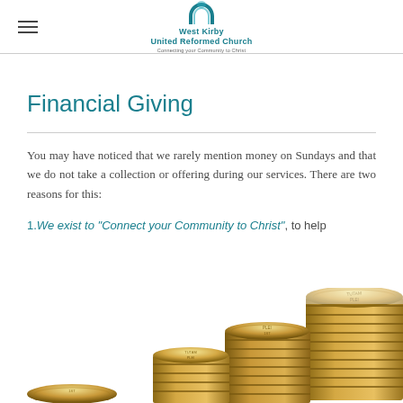West Kirby United Reformed Church — Connecting your Community to Christ
Financial Giving
You may have noticed that we rarely mention money on Sundays and that we do not take a collection or offering during our services. There are two reasons for this:
1.We exist to “Connect your Community to Christ”, to help
[Figure (photo): Stack of gold pound coins at the bottom of the page]